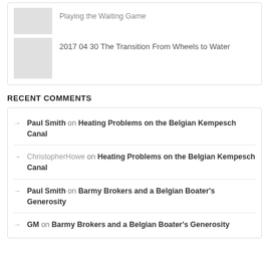[Figure (photo): Thumbnail placeholder image (gray rectangle) for a blog post]
2017 04 30 The Transition From Wheels to Water
RECENT COMMENTS
Paul Smith on Heating Problems on the Belgian Kempesch Canal
ChristopherHowe on Heating Problems on the Belgian Kempesch Canal
Paul Smith on Barmy Brokers and a Belgian Boater's Generosity
GM on Barmy Brokers and a Belgian Boater's Generosity